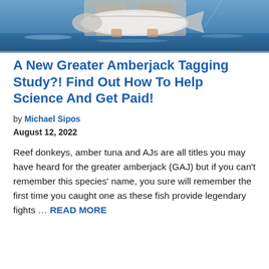[Figure (photo): Photo of people on a boat holding a large greater amberjack fish over blue ocean water]
A New Greater Amberjack Tagging Study?! Find Out How To Help Science And Get Paid!
by Michael Sipos
August 12, 2022
Reef donkeys, amber tuna and AJs are all titles you may have heard for the greater amberjack (GAJ) but if you can't remember this species' name, you sure will remember the first time you caught one as these fish provide legendary fights … READ MORE